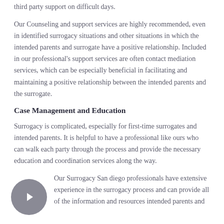third party support on difficult days.
Our Counseling and support services are highly recommended, even in identified surrogacy situations and other situations in which the intended parents and surrogate have a positive relationship. Included in our professional's support services are often contact mediation services, which can be especially beneficial in facilitating and maintaining a positive relationship between the intended parents and the surrogate.
Case Management and Education
Surrogacy is complicated, especially for first-time surrogates and intended parents. It is helpful to have a professional like ours who can walk each party through the process and provide the necessary education and coordination services along the way.
Our Surrogacy San diego professionals have extensive experience in the surrogacy process and can provide all of the information and resources intended parents and